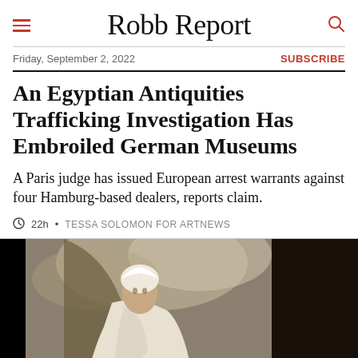Robb Report
Friday, September 2, 2022
SUBSCRIBE
An Egyptian Antiquities Trafficking Investigation Has Embroiled German Museums
A Paris judge has issued European arrest warrants against four Hamburg-based dealers, reports claim.
22h • TESSA SOLOMON FOR ARTNEWS
[Figure (photo): A painting of a figure in white robes and turban against a dramatic cloudy sky background, shown from the waist up.]